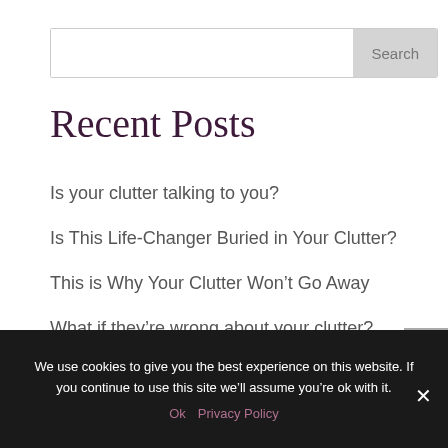[Figure (screenshot): Search input box with 'Search' button on the right]
Recent Posts
Is your clutter talking to you?
Is This Life-Changer Buried in Your Clutter?
This is Why Your Clutter Won't Go Away
What if they're wrong about your clutter?
It's Not Your Job to Feel Guilty
We use cookies to give you the best experience on this website. If you continue to use this site we'll assume you're ok with it.
Ok   Privacy Policy